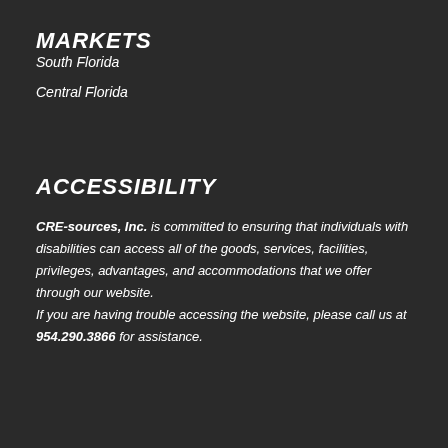MARKETS
South Florida
Central Florida
ACCESSIBILITY
CRE-sources, Inc. is committed to ensuring that individuals with disabilities can access all of the goods, services, facilities, privileges, advantages, and accommodations that we offer through our website. If you are having trouble accessing the website, please call us at 954.290.3866 for assistance.